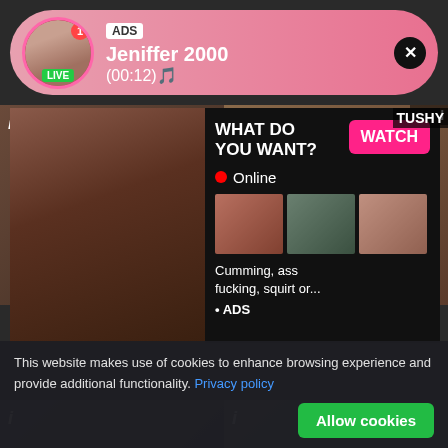[Figure (screenshot): Adult website screenshot with video thumbnails grid background]
ADS Jeniffer 2000 (00:12)🎵 LIVE
WHAT DO YOU WANT? WATCH Online Cumming, ass fucking, squirt or... • ADS
BAN
TUSHY
This website makes use of cookies to enhance browsing experience and provide additional functionality. Privacy policy
Allow cookies